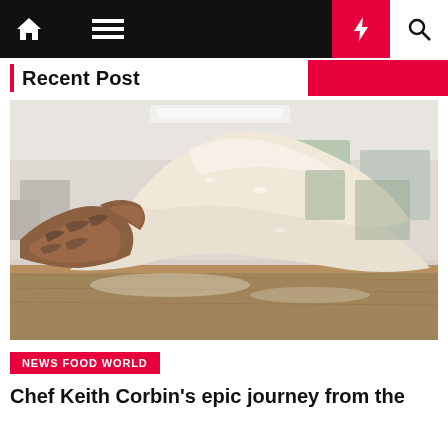Navigation bar with home, menu, dark mode, lightning/flash, and search icons
Recent Post
[Figure (photo): A baker with tattooed arm stretching pizza or bread dough over a flour-dusted wooden work surface in a commercial kitchen]
NEWS FOOD WORLD
Chef Keith Corbin's epic journey from the